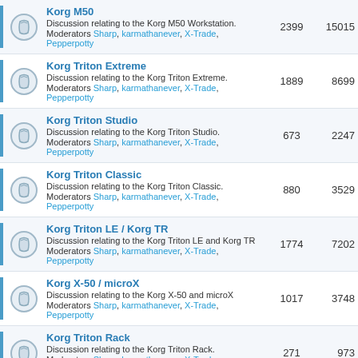Korg M50 — Discussion relating to the Korg M50 Workstation. Moderators Sharp, karmathanever, X-Trade, Pepperpotty — 2399 — 15015
Korg Triton Extreme — Discussion relating to the Korg Triton Extreme. Moderators Sharp, karmathanever, X-Trade, Pepperpotty — 1889 — 8699
Korg Triton Studio — Discussion relating to the Korg Triton Studio. Moderators Sharp, karmathanever, X-Trade, Pepperpotty — 673 — 2247
Korg Triton Classic — Discussion relating to the Korg Triton Classic. Moderators Sharp, karmathanever, X-Trade, Pepperpotty — 880 — 3529
Korg Triton LE / Korg TR — Discussion relating to the Korg Triton LE and Korg TR. Moderators Sharp, karmathanever, X-Trade, Pepperpotty — 1774 — 7202
Korg X-50 / microX — Discussion relating to the Korg X-50 and microX. Moderators Sharp, karmathanever, X-Trade, Pepperpotty — 1017 — 3748
Korg Triton Rack — Discussion relating to the Korg Triton Rack. Moderators Sharp, karmathanever, X-Trade, Pepperpotty — 271 — 973
Korg Karma — Discussion relating to the Korg Karma. Moderators Sharp, karmathanever, X-Trade, Pepperpotty — 260 — 834
Korg Trinity — Discussion relating to the Korg Trinity and TR rack. Moderators Sharp, karmathanever, X-Trade, Pepperpotty — 935 — 4551